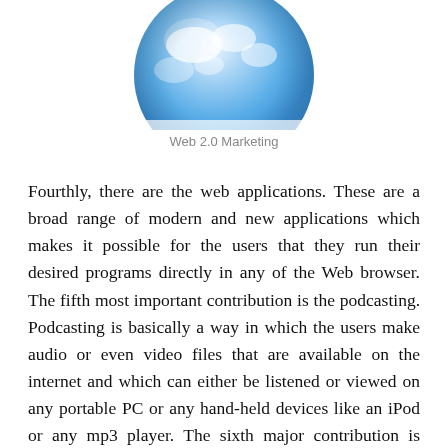[Figure (illustration): Partial globe/earth illustration with blue and white colors, cropped at top of page]
Web 2.0 Marketing
Fourthly, there are the web applications. These are a broad range of modern and new applications which makes it possible for the users that they run their desired programs directly in any of the Web browser. The fifth most important contribution is the podcasting. Podcasting is basically a way in which the users make audio or even video files that are available on the internet and which can either be listened or viewed on any portable PC or any hand-held devices like an iPod or any mp3 player. The sixth major contribution is content hosting services. The content hosting or better called as the content sharing sites mainly allow the users to upload their content, and these mostly includes